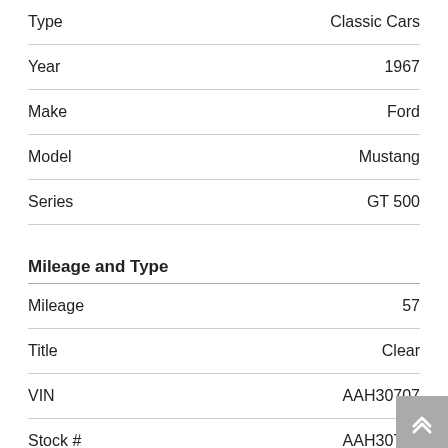| Field | Value |
| --- | --- |
| Type | Classic Cars |
| Year | 1967 |
| Make | Ford |
| Model | Mustang |
| Series | GT 500 |
Mileage and Type
| Field | Value |
| --- | --- |
| Mileage | 57 |
| Title | Clear |
| VIN | AAH30707 |
| Stock # | AAH30707 |